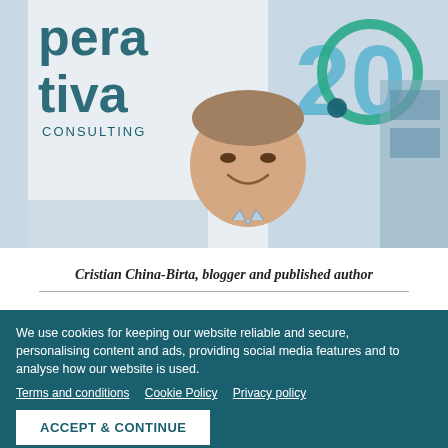[Figure (photo): A smiling man with arms crossed wearing a light blue shirt, standing in front of a backdrop with partial text 'pera tiva' and '20' with a teal circular logo element, in what appears to be an office/consulting environment.]
Cristian China-Birta, blogger and published author
We use cookies for keeping our website reliable and secure, personalising content and ads, providing social media features and to analyse how our website is used.
Terms and conditions   Cookie Policy   Privacy policy
ACCEPT & CONTINUE